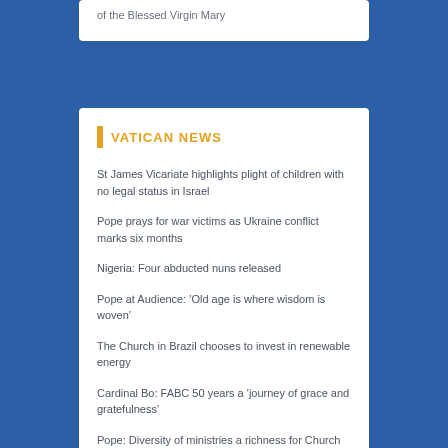of the Blessed Virgin Mary
VATICAN NEWS
St James Vicariate highlights plight of children with no legal status in Israel
Pope prays for war victims as Ukraine conflict marks six months
Nigeria: Four abducted nuns released
Pope at Audience: 'Old age is where wisdom is woven'
The Church in Brazil chooses to invest in renewable energy
Cardinal Bo: FABC 50 years a 'journey of grace and gratefulness'
Pope: Diversity of ministries a richness for Church